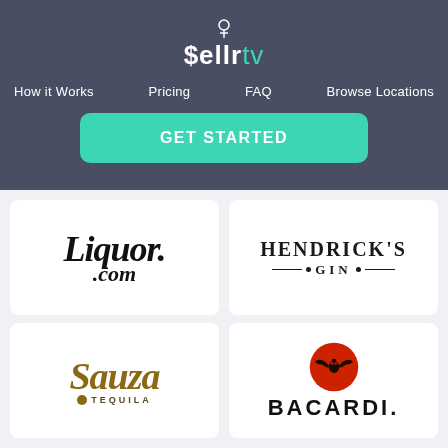[Figure (logo): sellrtv logo — white and teal text on dark slate background]
How it Works   Pricing   FAQ   Browse Locations
GET STARTED
[Figure (logo): Liquor.com logo — bold italic serif black text]
[Figure (logo): Hendrick's Gin logo — all caps serif with decorative rule]
[Figure (logo): Sauza Tequila logo — gold italic script with tequila subtitle]
[Figure (logo): Bacardi logo — bat emblem circle with BACARDI text]